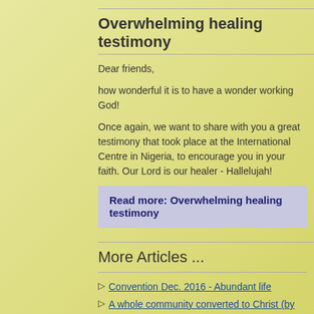Overwhelming healing testimony
Dear friends,
how wonderful it is to have a wonder working God!
Once again, we want to share with you a great testimony that took place at the International Centre in Nigeria, to encourage you in your faith. Our Lord is our healer - Hallelujah!
Read more: Overwhelming healing testimony
More Articles ...
Convention Dec. 2016 - Abundant life
A whole community converted to Christ (by Pastor Solomon Folorunsho)